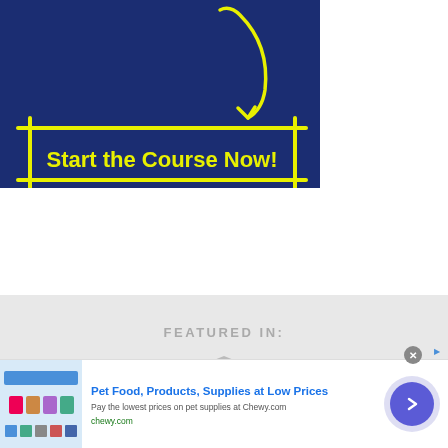[Figure (illustration): Dark blue background with a yellow hand-drawn arrow pointing down to a yellow hand-drawn rectangle containing bold yellow text 'Start the Course Now!']
FEATURED IN:
[Figure (illustration): Grey shield/badge icon partially visible at the bottom of the featured section]
[Figure (advertisement): Banner ad for Chewy.com: 'Pet Food, Products, Supplies at Low Prices. Pay the lowest prices on pet supplies at Chewy.com. chewy.com' with a forward arrow button and a close button.]